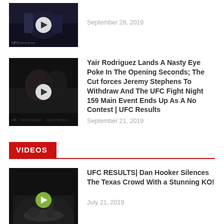[Figure (photo): Video thumbnail showing UFC fight scene, dark octagon background with play button overlay]
September 28, 2019
[Figure (photo): Video thumbnail showing two fighters close up, UFC Fight Night 159 eye poke incident]
Yair Rodriguez Lands A Nasty Eye Poke In The Opening Seconds; The Cut forces Jeremy Stephens To Withdraw And The UFC Fight Night 159 Main Event Ends Up As A No Contest | UFC Results
September 21, 2019
VIDEOS
[Figure (photo): Video thumbnail showing UFC fight KO moment, Texas event, Dan Hooker vs opponent]
UFC RESULTS| Dan Hooker Silences The Texas Crowd With a Stunning KO!
July 21, 2019